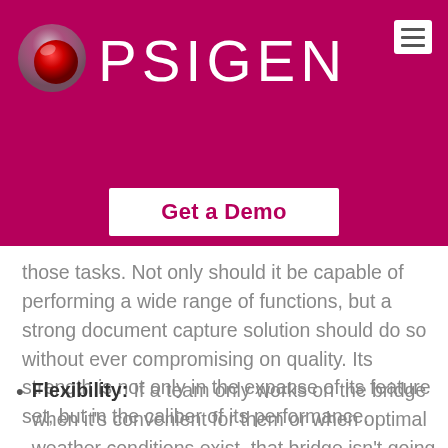PSIGEN
[Figure (logo): PSIGEN logo with red sphere graphic and white PSIGEN wordmark on dark pink/magenta background]
Get a Demo
those tasks. Not only should it be capable of performing a wide range of functions, but a strong document capture solution should do so without ever compromising on quality. Its strength is not only in the expanse of its feature set, but in the caliber of its performance.
Flexibility: If a team only works on the bridge when it's convenient for them or when optimal weather conditions exist, that bridge isn't going to be usable for a very